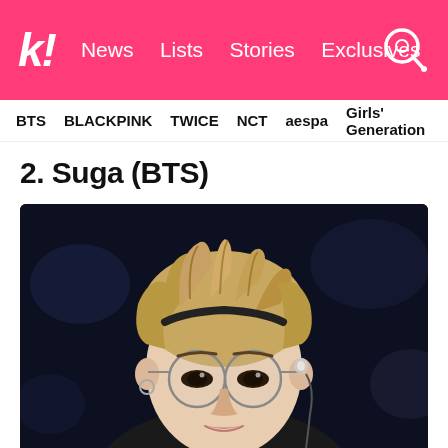k! News | Lists | Stories | Exclusives
BTS | BLACKPINK | TWICE | NCT | aespa | Girls' Generation
2. Suga (BTS)
[Figure (photo): Close-up photo of BTS member Suga wearing round wire-framed glasses, blonde/light brown tousled hair, in-ear monitor visible, silver hoop earring, dark background suggesting a concert or performance setting.]